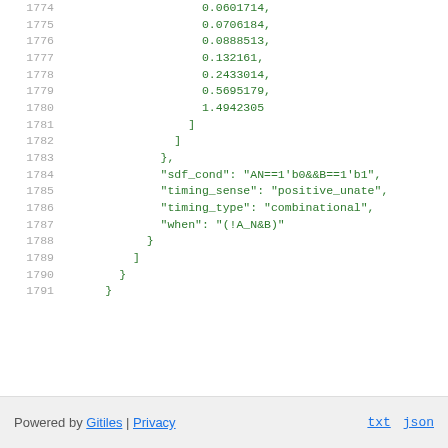1774-1791 code lines showing JSON data structure with numeric array values and timing properties
Powered by Gitiles | Privacy  txt  json